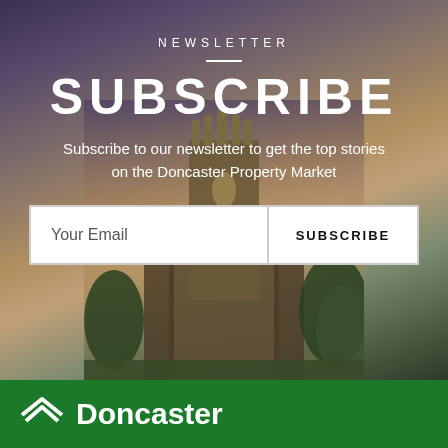[Figure (photo): Background photo of a Gothic cathedral (Doncaster Minster) at dusk with dark purple-orange sky and green trees]
NEWSLETTER
SUBSCRIBE
Subscribe to our newsletter to get the top stories on the Doncaster Property Market
Your Email
SUBSCRIBE
[Figure (logo): Doncaster property logo: white house roof/chevron icon with white bold text 'Doncaster' on green background]